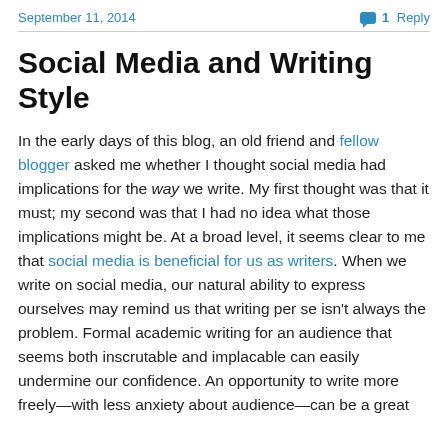September 11, 2014   1 Reply
Social Media and Writing Style
In the early days of this blog, an old friend and fellow blogger asked me whether I thought social media had implications for the way we write. My first thought was that it must; my second was that I had no idea what those implications might be. At a broad level, it seems clear to me that social media is beneficial for us as writers. When we write on social media, our natural ability to express ourselves may remind us that writing per se isn't always the problem. Formal academic writing for an audience that seems both inscrutable and implacable can easily undermine our confidence. An opportunity to write more freely—with less anxiety about audience—can be a great